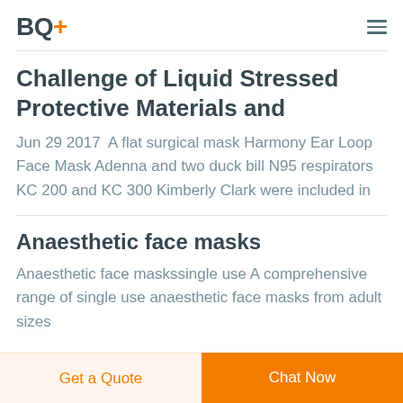BQ+
Challenge of Liquid Stressed Protective Materials and
Jun 29 2017  A flat surgical mask Harmony Ear Loop Face Mask Adenna and two duck bill N95 respirators KC 200 and KC 300 Kimberly Clark were included in
Anaesthetic face masks
Anaesthetic face maskssingle use A comprehensive range of single use anaesthetic face masks from adult sizes